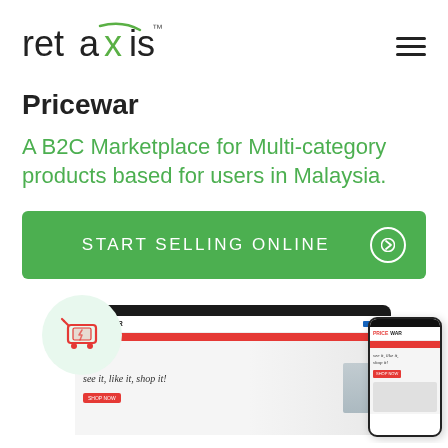[Figure (logo): Retaxis logo with green X, TM mark]
Pricewar
A B2C Marketplace for Multi-category products based for users in Malaysia.
START SELLING ONLINE
[Figure (screenshot): Pricewar website screenshot on laptop and mobile phone mockups with shopping cart icon, tagline 'see it, like it, shop it!']